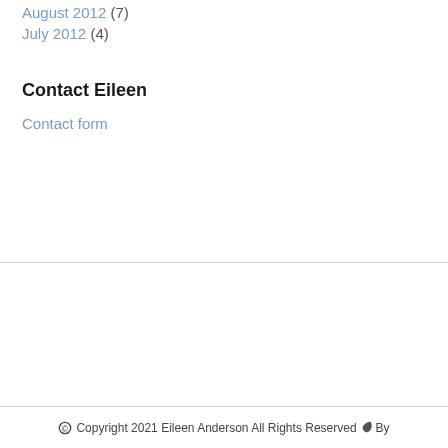August 2012 (7)
July 2012 (4)
Contact Eileen
Contact form
© Copyright 2021 Eileen Anderson All Rights Reserved 🍃 By